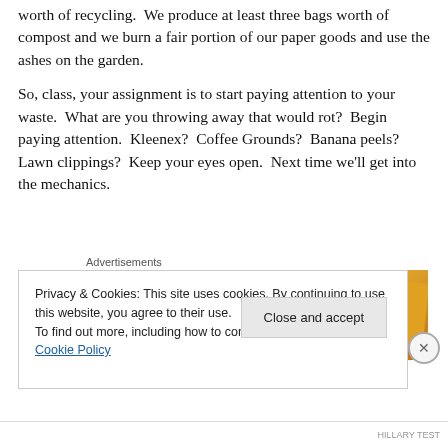worth of recycling.  We produce at least three bags worth of compost and we burn a fair portion of our paper goods and use the ashes on the garden.
So, class, your assignment is to start paying attention to your waste.  What are you throwing away that would rot?  Begin paying attention.  Kleenex?  Coffee Grounds?  Banana peels?  Lawn clippings?  Keep your eyes open.  Next time we'll get into the mechanics.
Advertisements
[Figure (photo): Advertisement banner with colorful overlapping cards including Meta and Facebook branding]
Privacy & Cookies: This site uses cookies. By continuing to use this website, you agree to their use.
To find out more, including how to control cookies, see here: Cookie Policy
Close and accept